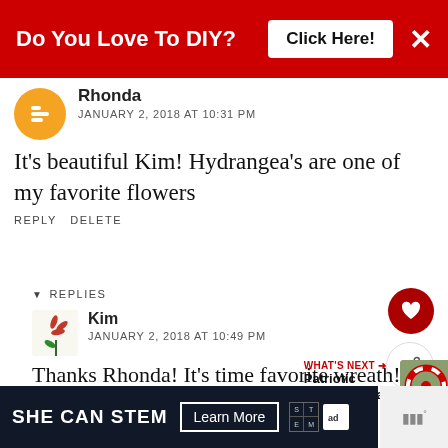[Figure (other): Red advertisement banner: 'Do You Love To DIY?' with 'Click Here!' button and X close button]
Rhonda
JANUARY 2, 2018 AT 10:31 PM
It’s beautiful Kim! Hydrangea’s are one of my favorite flowers
REPLY DELETE
▼ REPLIES
Kim
JANUARY 2, 2018 AT 10:49 PM
Thanks Rhonda! It’s time favorite wreath!
[Figure (other): What's Next promo: Patriotic Ribbon Wreath with image thumbnail]
[Figure (other): Bottom advertisement: SHE CAN STEM Learn More, with STEM and ad council logos]